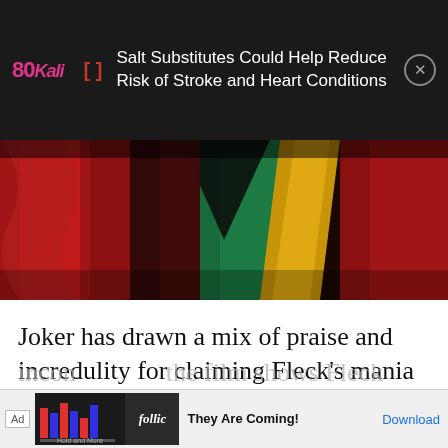80Kali — Salt Substitutes Could Help Reduce Risk of Stroke and Heart Conditions
[Figure (photo): Close-up of a colorful costume with red, green, and yellow fabric — appears to be the Joker costume]
Joker has drawn a mix of praise and incredulity for claiming Fleck's mania is linked to a neurological condition known as Pseudobulbar affect.
Pejoratively known as 'emotional incontinence', the film shows Fleck laughing at inappropriate times, ping
[Figure (screenshot): Ad banner at bottom: 'Hold and More' app ad with follic branding, 'They Are Coming!' headline and Download button]